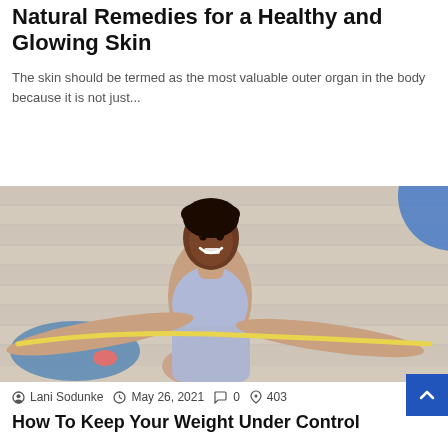Natural Remedies for a Healthy and Glowing Skin
The skin should be termed as the most valuable outer organ in the body because it is not just...
Read More »
[Figure (photo): Woman in athletic wear looking up at camera while using a resistance band, photographed from above on a light wood floor]
Lani Sodunke  May 26, 2021  0  403
How To Keep Your Weight Under Control